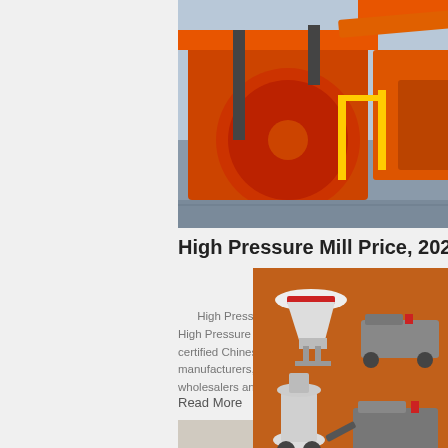[Figure (photo): Orange industrial crushing/milling machinery equipment at a quarry site]
High Pressure Mill Price, 2021 High Pressure Mill Price ...
High Pressure Mill Price - Select 2021 high quality High Pressure Mill Price products in best price from certified Chinese High Pressure Injection Machine manufacturers, High Pressure Pot suppliers, wholesalers and factory on Made-in-China
Read More
[Figure (illustration): 3D diagram/illustration of a stone crushing and mining plant layout with trucks, conveyors, and stock piles]
[Figure (illustration): Sidebar advertisement showing various crushing and milling machinery models]
Enjoy 3% discount
Click to Chat
Enquiry
limingjlmofen@sina.com